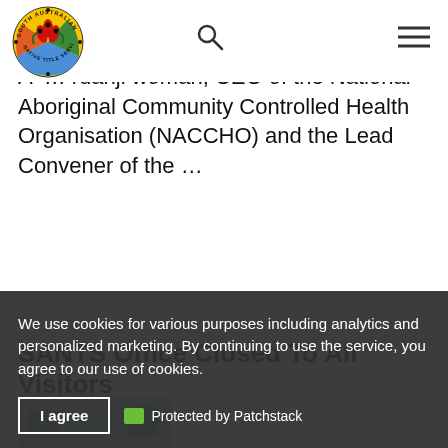[Figure (logo): South Australian Native Title Services circular logo with red sturt desert pea flowers and text around the border]
A … danji woman, CEO of the National Aboriginal Community Controlled Health Organisation (NACCHO) and the Lead Convener of the …
SANTS Office Closed To All Visitors
[Figure (photo): Partial thumbnail image with blue-grey tones]
In light of decisions to slow the spread of the Coronavirus (COVID-19) in the Australian
We use cookies for various purposes including analytics and personalized marketing. By continuing to use the service, you agree to our use of cookies.
I agree
Protected by Patchstack